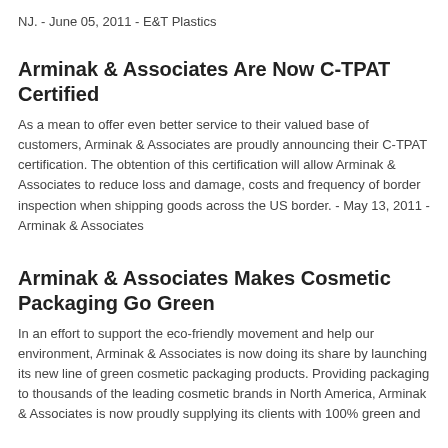NJ. - June 05, 2011 - E&T Plastics
Arminak & Associates Are Now C-TPAT Certified
As a mean to offer even better service to their valued base of customers, Arminak & Associates are proudly announcing their C-TPAT certification. The obtention of this certification will allow Arminak & Associates to reduce loss and damage, costs and frequency of border inspection when shipping goods across the US border. - May 13, 2011 - Arminak & Associates
Arminak & Associates Makes Cosmetic Packaging Go Green
In an effort to support the eco-friendly movement and help our environment, Arminak & Associates is now doing its share by launching its new line of green cosmetic packaging products. Providing packaging to thousands of the leading cosmetic brands in North America, Arminak & Associates is now proudly supplying its clients with 100% green and